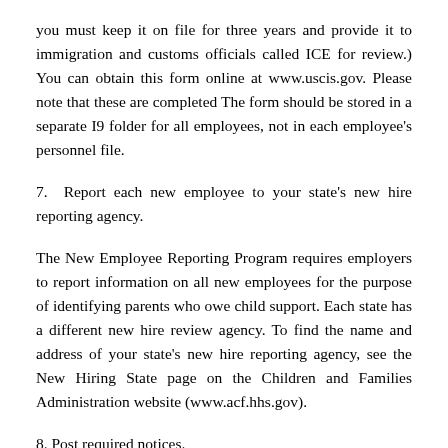you must keep it on file for three years and provide it to immigration and customs officials called ICE for review.) You can obtain this form online at www.uscis.gov. Please note that these are completed The form should be stored in a separate I9 folder for all employees, not in each employee's personnel file.
7.  Report each new employee to your state's new hire reporting agency.
The New Employee Reporting Program requires employers to report information on all new employees for the purpose of identifying parents who owe child support. Each state has a different new hire review agency. To find the name and address of your state's new hire reporting agency, see the New Hiring State page on the Children and Families Administration website (www.acf.hhs.gov).
8. Post required notices.
Some government agencies require employers to publish notices of workers' rights to their employees. For more information on